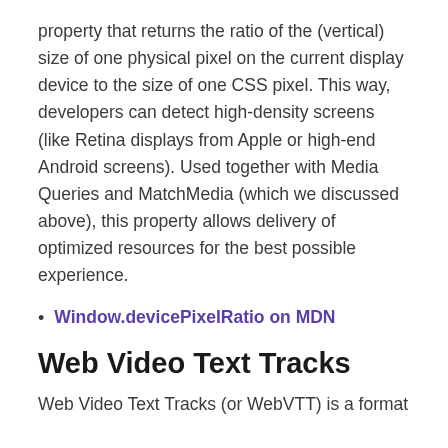property that returns the ratio of the (vertical) size of one physical pixel on the current display device to the size of one CSS pixel. This way, developers can detect high-density screens (like Retina displays from Apple or high-end Android screens). Used together with Media Queries and MatchMedia (which we discussed above), this property allows delivery of optimized resources for the best possible experience.
Window.devicePixelRatio on MDN
Web Video Text Tracks
Web Video Text Tracks (or WebVTT) is a format